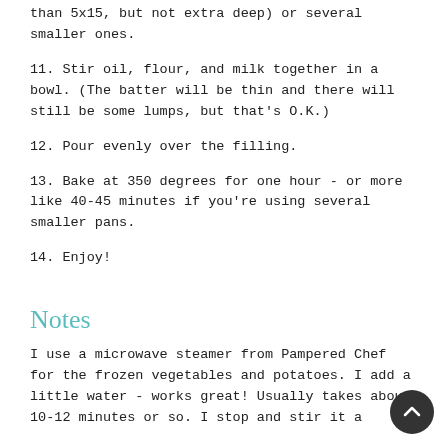than 5x15, but not extra deep) or several smaller ones.
11. Stir oil, flour, and milk together in a bowl. (The batter will be thin and there will still be some lumps, but that's O.K.)
12. Pour evenly over the filling.
13. Bake at 350 degrees for one hour - or more like 40-45 minutes if you're using several smaller pans.
14. Enjoy!
Notes
I use a microwave steamer from Pampered Chef for the frozen vegetables and potatoes. I add a little water - works great! Usually takes about 10-12 minutes or so. I stop and stir it a